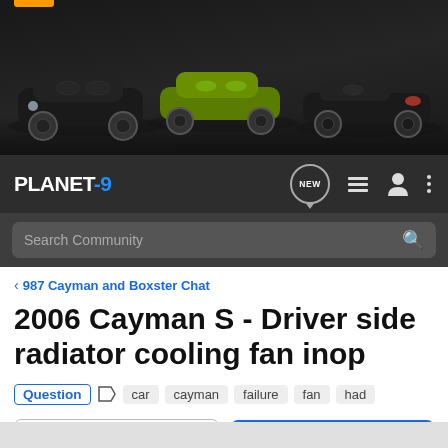[Figure (photo): Planet-9 Porsche forum website screenshot showing three Porsche cars (black 911, green Cayman, black Boxster) on dark background header, nav bar with PLANET-9 logo and icons, search bar, breadcrumb, post title, tags and action buttons]
PLANET-9
Search Community
987 Cayman and Boxster Chat
2006 Cayman S - Driver side radiator cooling fan inop
Question  car  cayman  failure  fan  had
→ Jump to Latest
+ Follow